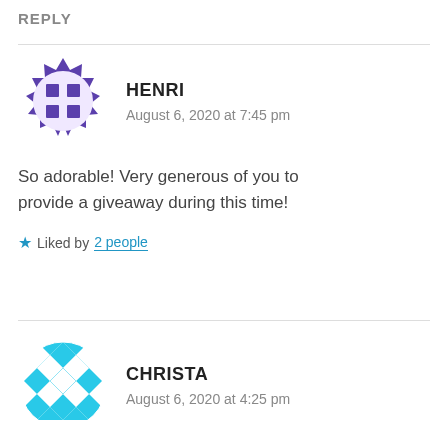REPLY
[Figure (illustration): Purple geometric quilt-pattern avatar for user Henri, circular shape with jagged star-like border in purple/dark-blue tones and a 2x2 grid of squares in the center]
HENRI
August 6, 2020 at 7:45 pm
So adorable! Very generous of you to provide a giveaway during this time!
Liked by 2 people
[Figure (illustration): Cyan/light-blue diamond lattice pattern avatar for user Christa, circular shape with repeating diamond/rhombus tile pattern in cyan and white]
CHRISTA
August 6, 2020 at 4:25 pm